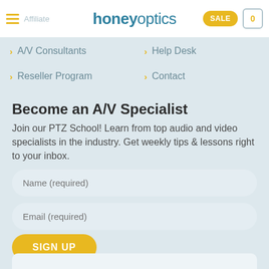honeyoptics — SALE — 0
> A/V Consultants
> Help Desk
> Reseller Program
> Contact
Become an A/V Specialist
Join our PTZ School! Learn from top audio and video specialists in the industry. Get weekly tips & lessons right to your inbox.
Name (required)
Email (required)
SIGN UP